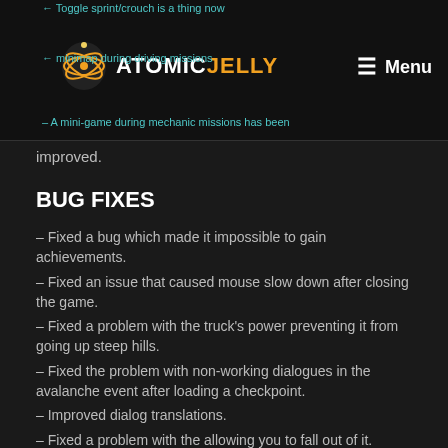Atomic Jelly — navigation header with logo and menu
improved.
BUG FIXES
– Fixed a bug which made it impossible to gain achievements.
– Fixed an issue that caused mouse slow down after closing the game.
– Fixed a problem with the truck's power preventing it from going up steep hills.
– Fixed the problem with non-working dialogues in the avalanche event after loading a checkpoint.
– Improved dialog translations.
– Fixed a problem with the allowing you to fall out of it.
– Fixed an issue where the system was not some th...